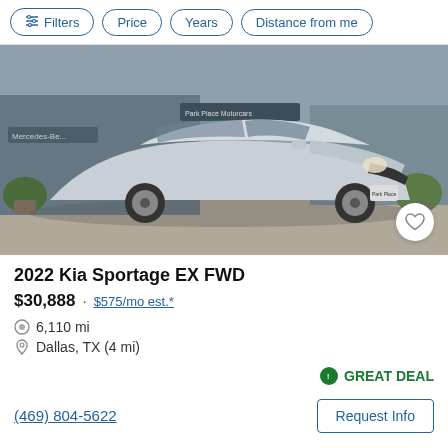Filters  Price  Years  Distance from me
[Figure (photo): Silver 2022 Kia Sportage EX FWD SUV parked in front of a dealership (Park Place Motorcars / Mercedes-Benz) on a sunny day. A heart/favorite button is in the bottom-right corner of the image.]
2022 Kia Sportage EX FWD
$30,888 · $575/mo est.*
6,110 mi
Dallas, TX (4 mi)
GREAT DEAL
(469) 804-5622
Request Info